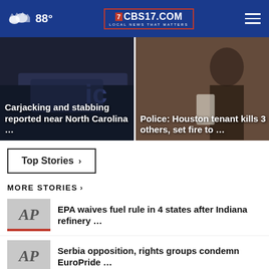88° CBS17.COM LOCAL NEWS THAT MATTERS
[Figure (photo): Police car at night with headline overlay: Carjacking and stabbing reported near North Carolina ...]
[Figure (photo): Person in dark clothing with headline overlay: Police: Houston tenant kills 3 others, set fire to ...]
Top Stories ›
MORE STORIES ›
EPA waives fuel rule in 4 states after Indiana refinery …
Serbia opposition, rights groups condemn EuroPride …